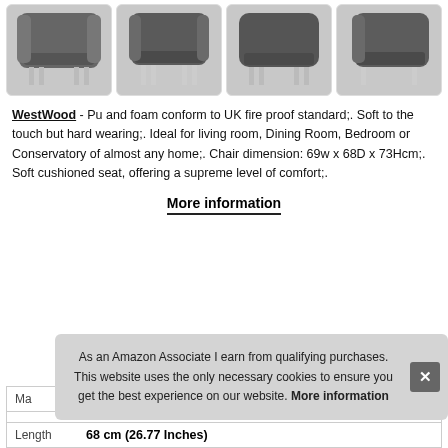[Figure (photo): Four product images of a dark grey tub chair with chrome legs shown from different angles: front-left, front, back, and side views]
WestWood - Pu and foam conform to UK fire proof standard;. Soft to the touch but hard wearing;. Ideal for living room, Dining Room, Bedroom or Conservatory of almost any home;. Chair dimension: 69w x 68D x 73Hcm;. Soft cushioned seat, offering a supreme level of comfort;.
More information
| Ma |  |
| Length | 68 cm (26.77 Inches) |
As an Amazon Associate I earn from qualifying purchases. This website uses the only necessary cookies to ensure you get the best experience on our website. More information